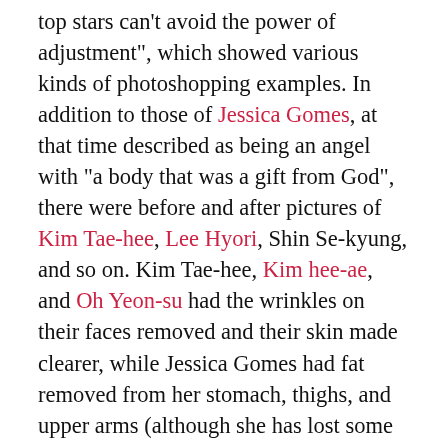top stars can't avoid the power of adjustment", which showed various kinds of photoshopping examples. In addition to those of Jessica Gomes, at that time described as being an angel with “a body that was a gift from God”, there were before and after pictures of Kim Tae-hee, Lee Hyori, Shin Se-kyung, and so on. Kim Tae-hee, Kim hee-ae, and Oh Yeon-su had the wrinkles on their faces removed and their skin made clearer, while Jessica Gomes had fat removed from her stomach, thighs, and upper arms (although she has lost some weight since then, and so really does look a lot like the altered image now).